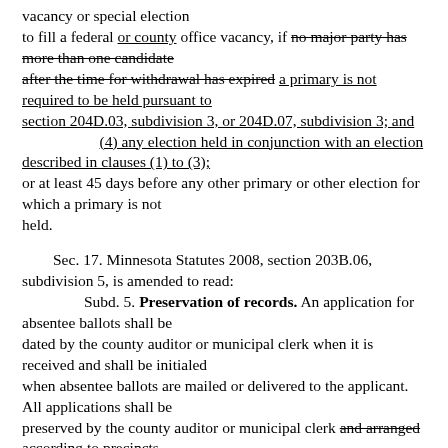vacancy or special election to fill a federal or county office vacancy, if no major party has more than one candidate after the time for withdrawal has expired a primary is not required to be held pursuant to section 204D.03, subdivision 3, or 204D.07, subdivision 3; and (4) any election held in conjunction with an election described in clauses (1) to (3); or at least 45 days before any other primary or other election for which a primary is not held.
Sec. 17. Minnesota Statutes 2008, section 203B.06, subdivision 5, is amended to read: Subd. 5. Preservation of records. An application for absentee ballots shall be dated by the county auditor or municipal clerk when it is received and shall be initialed when absentee ballots are mailed or delivered to the applicant. All applications shall be preserved by the county auditor or municipal clerk and arranged according to precincts and the initial letter of the applicant's surname for 22 months